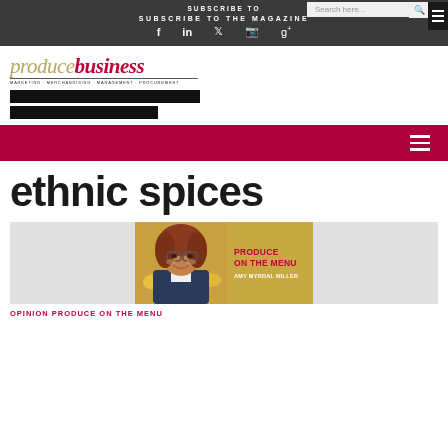SUBSCRIBE TO
SUBSCRIBE TO THE MAGAZINE
[Figure (screenshot): Social media icons: Facebook, LinkedIn, Twitter, Instagram, Google+]
[Figure (logo): Produce Business magazine logo with tagline MARKETING · MERCHANDISING · MANAGEMENT · PROCUREMENT]
[Figure (screenshot): Red navigation menu bar with hamburger menu icon]
ethnic spices
[Figure (photo): Article card for Produce On The Menu column by Amy Myrdal Miller, showing author photo and column branding on gold background]
OPINION  PRODUCE ON THE MENU